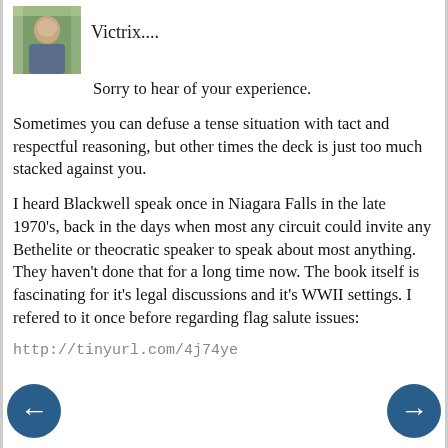[Figure (photo): Small avatar photo showing a person outdoors, greenish/nature background]
Victrix....
Sorry to hear of your experience. Sometimes you can defuse a tense situation with tact and respectful reasoning, but other times the deck is just too much stacked against you.
I heard Blackwell speak once in Niagara Falls in the late 1970's, back in the days when most any circuit could invite any Bethelite or theocratic speaker to speak about most anything. They haven't done that for a long time now. The book itself is fascinating for it's legal discussions and it's WWII settings. I refered to it once before regarding flag salute issues:
http://tinyurl.com/4j74ye